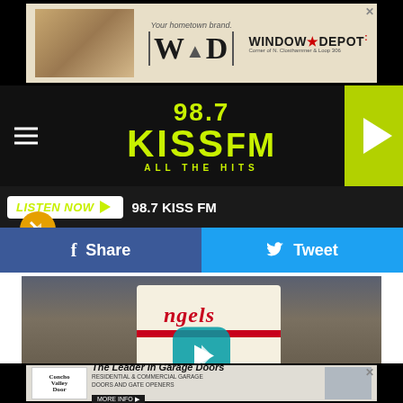[Figure (photo): Advertisement banner for Window Depot with interior photo and WAD logo at top of page]
[Figure (logo): 98.7 KISS FM All The Hits radio station logo in yellow-green on black background with play button]
LISTEN NOW ▶   98.7 KISS FM
[Figure (photo): Share and Tweet social media buttons (Facebook blue and Twitter blue)]
[Figure (photo): Baseball player in Angels uniform holding bat with crowd in background, video play button overlay]
The kit contains an empty tube for saliva to be sent to a lab based in Los Angeles, and the turnaround time for results
[Figure (photo): Advertisement for Concho Valley Door - The Leader In Garage Doors, Residential & Commercial Garage Doors and Gate Openers, More Info button]